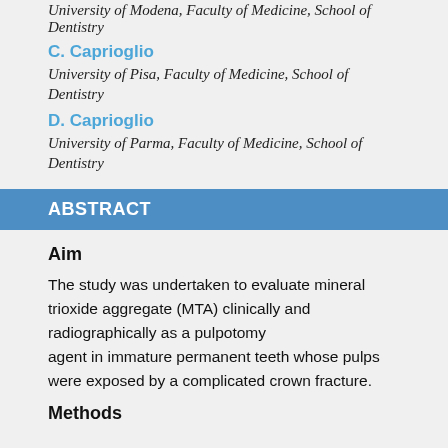University of Modena, Faculty of Medicine, School of Dentistry
C. Caprioglio
University of Pisa, Faculty of Medicine, School of Dentistry
D. Caprioglio
University of Parma, Faculty of Medicine, School of Dentistry
ABSTRACT
Aim
The study was undertaken to evaluate mineral trioxide aggregate (MTA) clinically and radiographically as a pulpotomy agent in immature permanent teeth whose pulps were exposed by a complicated crown fracture.
Methods